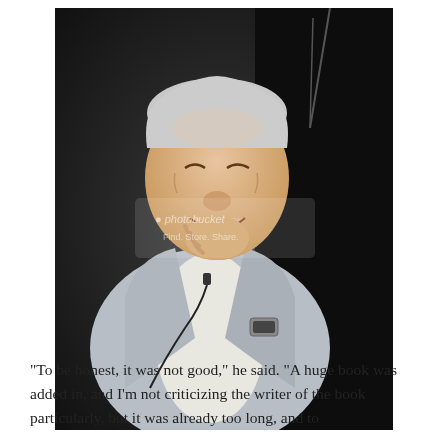[Figure (photo): An older man with white/grey hair, smiling and laughing, wearing a light grey suit and white shirt with a lavalier microphone. He is seated, resting his chin on his hand, with a dark background. A Photobucket watermark is visible in the center of the image.]
“To be honest, it was not good,” he said. “A huge book was added in, and I’m not criticizing the writer of the book particularly, but it was already too long, and to